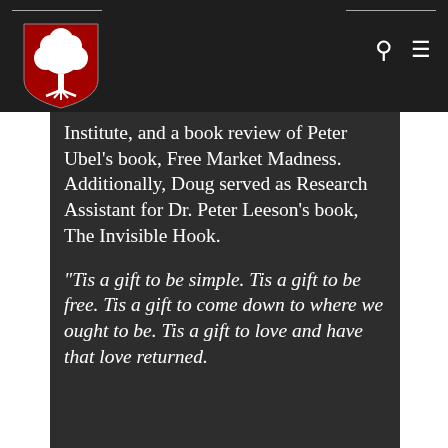[Figure (logo): Red shield with white tree logo for an educational institution navigation bar]
Institute, and a book review of Peter Ubel's book, Free Market Madness. Additionally, Doug served as Research Assistant for Dr. Peter Leeson's book, The Invisible Hook.
“Tis a gift to be simple. Tis a gift to be free. Tis a gift to come down to where we ought to be. Tis a gift to love and have that love returned.